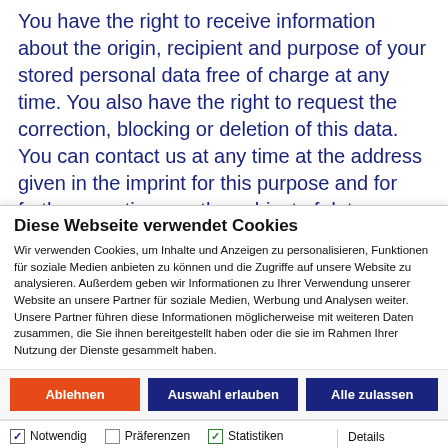What rights do you have regarding your data? You have the right to receive information about the origin, recipient and purpose of your stored personal data free of charge at any time. You also have the right to request the correction, blocking or deletion of this data. You can contact us at any time at the address given in the imprint for this purpose and for further questions on the subject of data protection.
Diese Webseite verwendet Cookies
Wir verwenden Cookies, um Inhalte und Anzeigen zu personalisieren, Funktionen für soziale Medien anbieten zu können und die Zugriffe auf unsere Website zu analysieren. Außerdem geben wir Informationen zu Ihrer Verwendung unserer Website an unsere Partner für soziale Medien, Werbung und Analysen weiter. Unsere Partner führen diese Informationen möglicherweise mit weiteren Daten zusammen, die Sie ihnen bereitgestellt haben oder die sie im Rahmen Ihrer Nutzung der Dienste gesammelt haben.